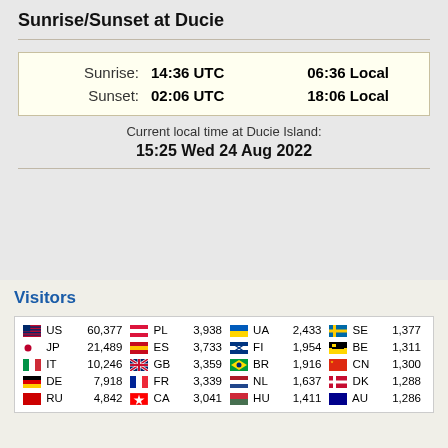Sunrise/Sunset at Ducie
|  | UTC | Local |
| --- | --- | --- |
| Sunrise: | 14:36 UTC | 06:36 Local |
| Sunset: | 02:06 UTC | 18:06 Local |
Current local time at Ducie Island:
15:25 Wed 24 Aug 2022
Visitors
| Flag | Code | Count | Flag | Code | Count | Flag | Code | Count | Flag | Code | Count |
| --- | --- | --- | --- | --- | --- | --- | --- | --- | --- | --- | --- |
| US | US | 60,377 | PL | PL | 3,938 | UA | UA | 2,433 | SE | SE | 1,377 |
| JP | JP | 21,489 | ES | ES | 3,733 | FI | FI | 1,954 | BE | BE | 1,311 |
| IT | IT | 10,246 | GB | GB | 3,359 | BR | BR | 1,916 | CN | CN | 1,300 |
| DE | DE | 7,918 | FR | FR | 3,339 | NL | NL | 1,637 | DK | DK | 1,288 |
| RU | RU | 4,842 | CA | CA | 3,041 | HU | HU | 1,411 | AU | AU | 1,286 |